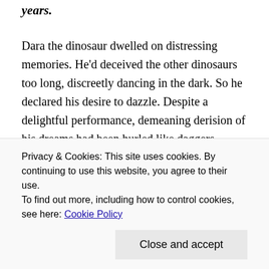years.
Dara the dinosaur dwelled on distressing memories. He'd deceived the other dinosaurs too long, discreetly dancing in the dark. So he declared his desire to dazzle. Despite a delightful performance, demeaning derision of his dreams had been hurled like daggers, drawing tears like blood.
Disowned by the pack because of his differences he despaired. He kept his distance so he could defend himself, and his devotion to dance dissipated. But his dreams never depleted. Detached in his small domain he
Privacy & Cookies: This site uses cookies. By continuing to use this website, you agree to their use.
To find out more, including how to control cookies, see here: Cookie Policy
Close and accept
destroyed. Now Dara is displayed in all his dazzling glory,